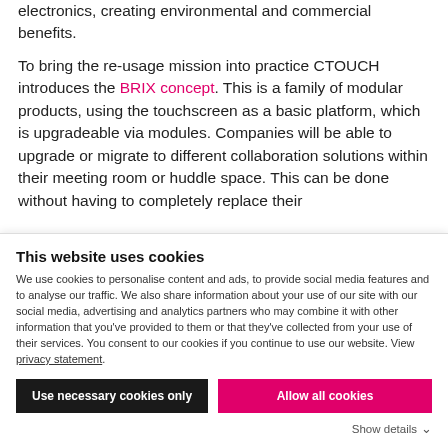electronics, creating environmental and commercial benefits.

To bring the re-usage mission into practice CTOUCH introduces the BRIX concept. This is a family of modular products, using the touchscreen as a basic platform, which is upgradeable via modules. Companies will be able to upgrade or migrate to different collaboration solutions within their meeting room or huddle space. This can be done without having to completely replace their
This website uses cookies
We use cookies to personalise content and ads, to provide social media features and to analyse our traffic. We also share information about your use of our site with our social media, advertising and analytics partners who may combine it with other information that you've provided to them or that they've collected from your use of their services. You consent to our cookies if you continue to use our website. View privacy statement.
Use necessary cookies only | Allow all cookies
Show details